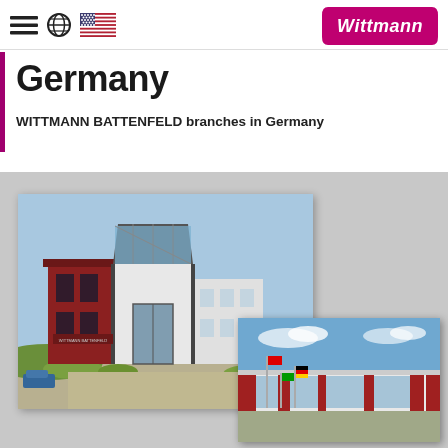navigation bar with menu, globe, and US flag icons
[Figure (logo): Wittmann company logo — white italic text on magenta/pink background]
Germany
WITTMANN BATTENFELD branches in Germany
[Figure (photo): Photo collage of two WITTMANN BATTENFELD branch buildings in Germany. First building (left): modern two-story structure with red/maroon cladding and white/gray sections, glass entrance. Second building (bottom right): long low modern industrial building with white and red facade, multiple flags in front, blue sky background.]